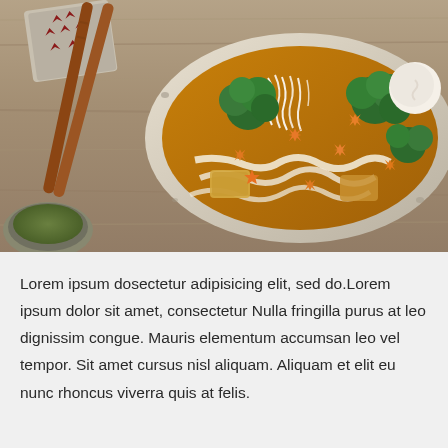[Figure (photo): Overhead photo of a Japanese-style ramen/udon bowl filled with broth, noodles, broccoli florets, star-shaped carrot pieces, mushrooms, fish cake, and bean sprouts, served on a dark plate on a wooden surface with wooden chopsticks, a folded cloth napkin with red leaf pattern, and a small bowl of sauce visible on the left side.]
Lorem ipsum dosectetur adipisicing elit, sed do.Lorem ipsum dolor sit amet, consectetur Nulla fringilla purus at leo dignissim congue. Mauris elementum accumsan leo vel tempor. Sit amet cursus nisl aliquam. Aliquam et elit eu nunc rhoncus viverra quis at felis.